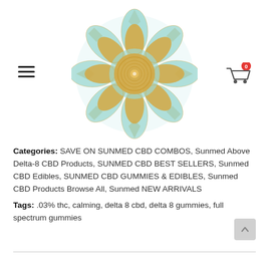[Figure (logo): Sunmed CBD mandala logo — teal and gold decorative flower/mandala design]
Categories: SAVE ON SUNMED CBD COMBOS, Sunmed Above Delta-8 CBD Products, SUNMED CBD BEST SELLERS, Sunmed CBD Edibles, SUNMED CBD GUMMIES & EDIBLES, Sunmed CBD Products Browse All, Sunmed NEW ARRIVALS
Tags: .03% thc, calming, delta 8 cbd, delta 8 gummies, full spectrum gummies